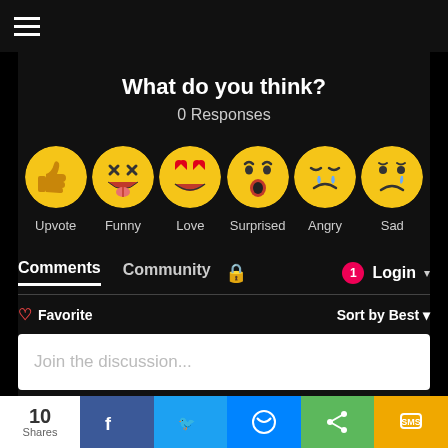≡
What do you think?
0 Responses
[Figure (infographic): Six emoji reaction buttons: Upvote (thumbs up), Funny (laughing tongue out), Love (heart eyes), Surprised (wow face), Angry (crying angry), Sad (sad tear drop)]
Comments  Community  🔒  1  Login ▾
♡ Favorite    Sort by Best ▾
Join the discussion...
LOG IN WITH
[Figure (infographic): Social login icons: Disqus (D), Facebook (f), Twitter (bird), Google (G)]
10 Shares  [Facebook share] [Twitter share] [Messenger share] [Share] [SMS]